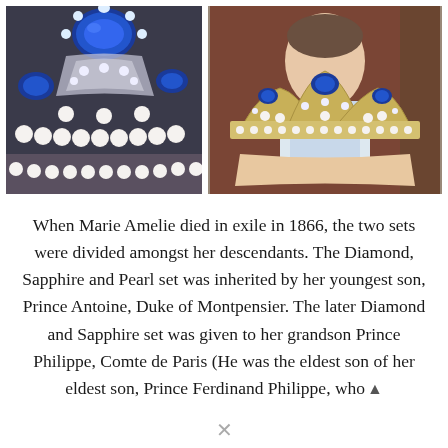[Figure (photo): Two side-by-side photos of royal jewelry. Left: close-up of a sapphire, diamond and pearl tiara/brooch piece showing large blue sapphire stones, diamonds, and white pearls. Right: a person holding a full diamond, sapphire and pearl crown/tiara in front of a portrait painting of a royal woman.]
When Marie Amelie died in exile in 1866, the two sets were divided amongst her descendants. The Diamond, Sapphire and Pearl set was inherited by her youngest son, Prince Antoine, Duke of Montpensier. The later Diamond and Sapphire set was given to her grandson Prince Philippe, Comte de Paris (He was the eldest son of her eldest son, Prince Ferdinand Philippe, who